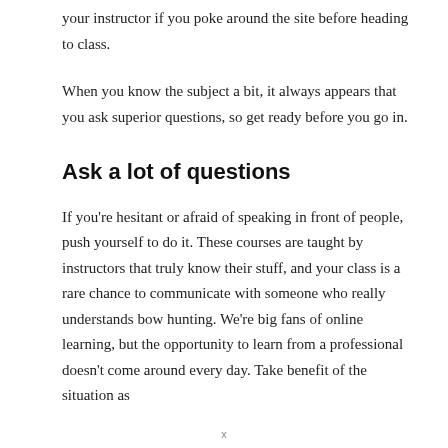your instructor if you poke around the site before heading to class.
When you know the subject a bit, it always appears that you ask superior questions, so get ready before you go in.
Ask a lot of questions
If you're hesitant or afraid of speaking in front of people, push yourself to do it. These courses are taught by instructors that truly know their stuff, and your class is a rare chance to communicate with someone who really understands bow hunting. We're big fans of online learning, but the opportunity to learn from a professional doesn't come around every day. Take benefit of the situation as
x